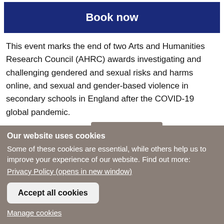Book now
This event marks the end of two Arts and Humanities Research Council (AHRC) awards investigating and challenging gendered and sexual risks and harms online, and sexual and gender-based violence in secondary schools in England after the COVID-19 global pandemic.
Cookie settings
Our website uses cookies
Some of these cookies are essential, while others help us to improve your experience of our website. Find out more:
Privacy Policy (opens in new window)
Accept all cookies
Manage cookies